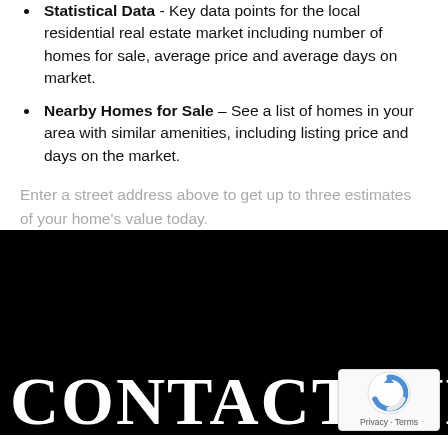Statistical Data - Key data points for the local residential real estate market including number of homes for sale, average price and average days on market.
Nearby Homes for Sale – See a list of homes in your area with similar amenities, including listing price and days on the market.
Enter a street address above to get up to three estimates of your home's value today.
CONTACT WE